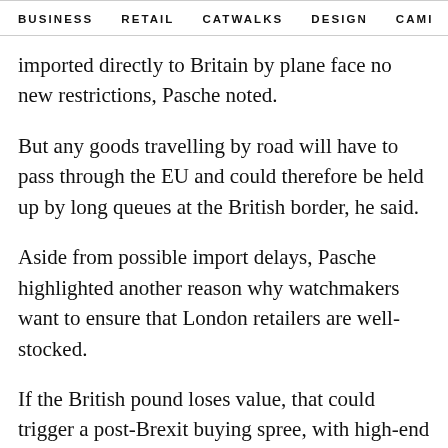BUSINESS   RETAIL   CATWALKS   DESIGN   CAMI  >
imported directly to Britain by plane face no new restrictions, Pasche noted.
But any goods travelling by road will have to pass through the EU and could therefore be held up by long queues at the British border, he said.
Aside from possible import delays, Pasche highlighted another reason why watchmakers want to ensure that London retailers are well-stocked.
If the British pound loses value, that could trigger a post-Brexit buying spree, with high-end shoppers notably in London seeking to benefit from favourable exchange